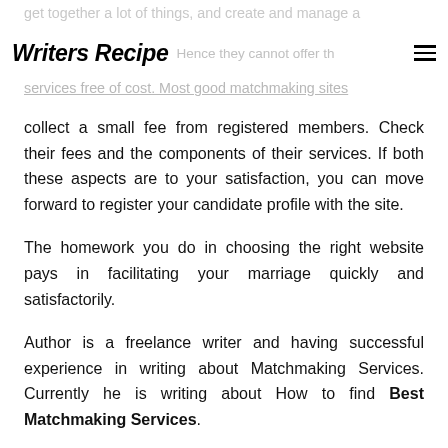Writers Recipe
get together a lot of things, and create and manage a services free of cost. Most good matchmaking sites collect a small fee from registered members. Check their fees and the components of their services. If both these aspects are to your satisfaction, you can move forward to register your candidate profile with the site.
The homework you do in choosing the right website pays in facilitating your marriage quickly and satisfactorily.
Author is a freelance writer and having successful experience in writing about Matchmaking Services. Currently he is writing about How to find Best Matchmaking Services.